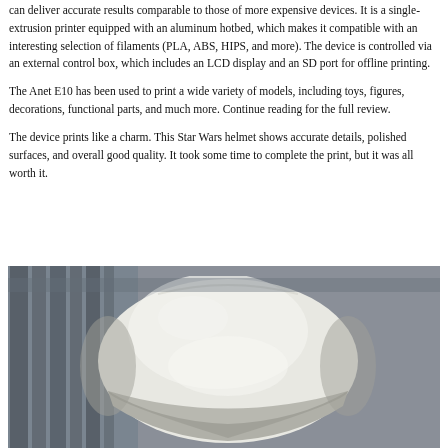can deliver accurate results comparable to those of more expensive devices. It is a single-extrusion printer equipped with an aluminum hotbed, which makes it compatible with an interesting selection of filaments (PLA, ABS, HIPS, and more). The device is controlled via an external control box, which includes an LCD display and an SD port for offline printing.
The Anet E10 has been used to print a wide variety of models, including toys, figures, decorations, functional parts, and much more. Continue reading for the full review.
The device prints like a charm. This Star Wars helmet shows accurate details, polished surfaces, and overall good quality. It took some time to complete the print, but it was all worth it.
[Figure (photo): Photo of a white 3D printed Star Wars helmet (likely Stormtrooper or similar) placed in front of a background with wooden slats/blinds and a wall. The helmet appears smooth and well-finished.]